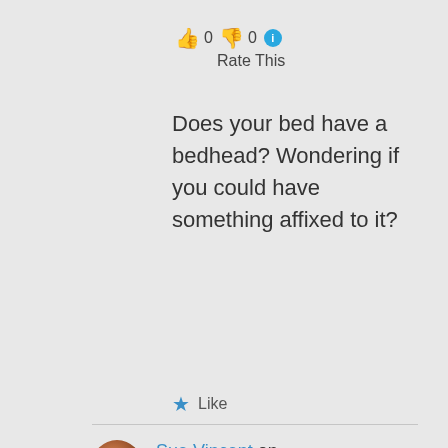👍 0 👎 0 ℹ Rate This
Does your bed have a bedhead? Wondering if you could have something affixed to it?
★ Like
Sue Vincent on February 13, 2021 at 10:38 pm
👍 0 👎 0 ℹ